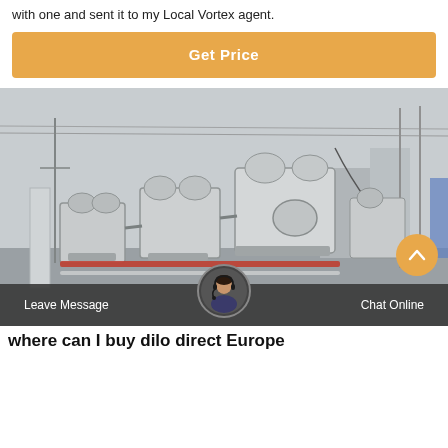with one and sent it to my Local Vortex agent.
Get Price
[Figure (photo): Industrial gas compression or processing equipment outdoors in cold/winter conditions. Multiple large compressor or pump units with piping, cylinders, and mechanical components mounted on skids, with overhead power lines and buildings in the background.]
Leave Message
Chat Online
where can I buy dilo direct Europe